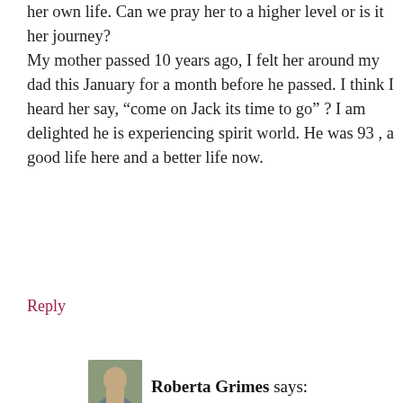her own life. Can we pray her to a higher level or is it her journey? My mother passed 10 years ago, I felt her around my dad this January for a month before he passed. I think I heard her say, “come on Jack its time to go” ? I am delighted he is experiencing spirit world. He was 93 , a good life here and a better life now.
Reply
Roberta Grimes says:
July 7, 2019 at 6:01 pm
Dear Marilynn, there is some evidence that your sending your niece love and prayers can help her to re-balance and to better grow